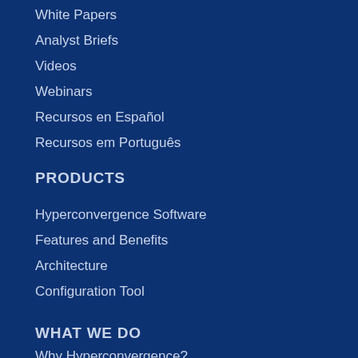White Papers
Analyst Briefs
Videos
Webinars
Recursos en Español
Recursos em Português
PRODUCTS
Hyperconvergence Software
Features and Benefits
Architecture
Configuration Tool
WHAT WE DO
Why Hyperconvergence?